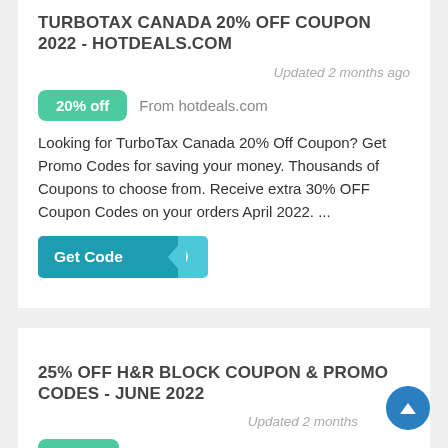TURBOTAX CANADA 20% OFF COUPON 2022 - HOTDEALS.COM
Updated 2 months ago
20% off   From hotdeals.com
Looking for TurboTax Canada 20% Off Coupon? Get Promo Codes for saving your money. Thousands of Coupons to choose from. Receive extra 30% OFF Coupon Codes on your orders April 2022. ...
Get Code 20
25% OFF H&R BLOCK COUPON & PROMO CODES - JUNE 2022
Updated 2 months
25% off   From coupons.spot.com